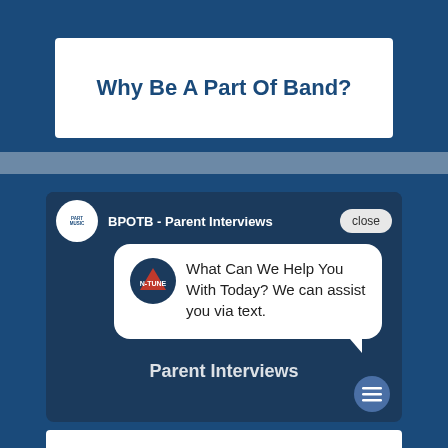Why Be A Part Of Band?
[Figure (screenshot): Screenshot of a website/app showing a video titled 'BPOTB - Parent Interviews' with a chat widget popup. The chat bubble shows a logo avatar and text: 'What Can We Help You With Today? We can assist you via text.' There is a 'close' button and a 'Parent Interviews' label visible.]